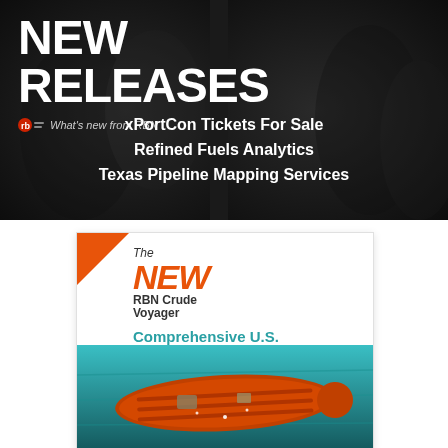[Figure (infographic): Dark banner with 'NEW RELEASES' heading, RBN logo, tagline 'What's new from RBN', and three white bold links: 'xPortCon Tickets For Sale', 'Refined Fuels Analytics', 'Texas Pipeline Mapping Services']
[Figure (illustration): Product card for 'The NEW RBN Crude Voyager - Comprehensive U.S. Crude Exports Analysis' with orange corner accent and aerial photo of orange tanker ship on teal water]